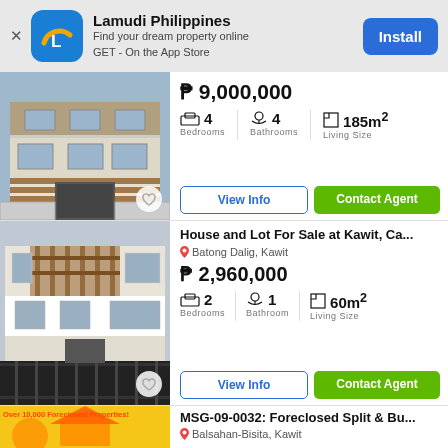[Figure (screenshot): Lamudi Philippines app install banner with logo, tagline, and Install button]
[Figure (photo): Photo of a two-story house for sale, first listing]
₱ 9,000,000
4 Bedrooms  4 Bathrooms  185m² Living Size
View Info  Contact Agent
[Figure (photo): Photo of a house and lot for sale at Kawit, second listing]
House and Lot For Sale at Kawit, Ca...
Batong Dalig, Kawit
₱ 2,960,000
2 Bedrooms  1 Bathroom  60m² Living Size
View Info  Contact Agent
[Figure (photo): Foreclosed property banner with yellow background and text 'Over 10,000 Foreclosed Properties!']
MSG-09-0032: Foreclosed Split & Bu...
Balsahan-Bisita, Kawit
₱ 2,100,000
145m²